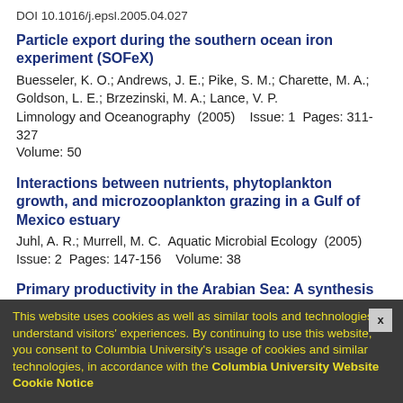DOI 10.1016/j.epsl.2005.04.027
Particle export during the southern ocean iron experiment (SOFeX)
Buesseler, K. O.; Andrews, J. E.; Pike, S. M.; Charette, M. A.; Goldson, L. E.; Brzezinski, M. A.; Lance, V. P.
Limnology and Oceanography  (2005)    Issue: 1  Pages: 311-327
Volume: 50
Interactions between nutrients, phytoplankton growth, and microzooplankton grazing in a Gulf of Mexico estuary
Juhl, A. R.; Murrell, M. C.  Aquatic Microbial Ecology  (2005)
Issue: 2  Pages: 147-156    Volume: 38
Primary productivity in the Arabian Sea: A synthesis of JGOFS data
Marra, J.; Barber, R. T.  Progress in Oceanography  (2005)
Issue: 2-4  Pages: 159-175    Volume: 65
DOI 10.1016/j.pocean.2005.03.004
2004
This website uses cookies as well as similar tools and technologies to understand visitors' experiences. By continuing to use this website, you consent to Columbia University's usage of cookies and similar technologies, in accordance with the Columbia University Website Cookie Notice